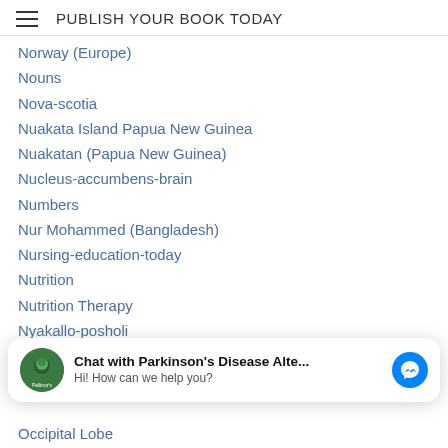PUBLISH YOUR BOOK TODAY
Norway (Europe)
Nouns
Nova-scotia
Nuakata Island Papua New Guinea
Nuakatan (Papua New Guinea)
Nucleus-accumbens-brain
Numbers
Nur Mohammed (Bangladesh)
Nursing-education-today
Nutrition
Nutrition Therapy
Nyakallo-posholi
Nyens-nyens-peace
Nystagmus-exercises
[Figure (other): Chat widget: Chat with Parkinson's Disease Alte... Hi! How can we help you? Messenger icon]
Occipital Lobe